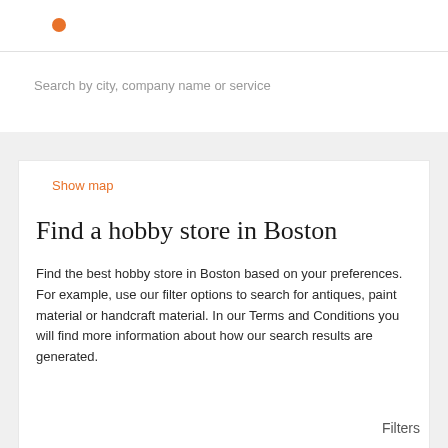Search by city, company name or service
Show map
Find a hobby store in Boston
Find the best hobby store in Boston based on your preferences. For example, use our filter options to search for antiques, paint material or handcraft material. In our Terms and Conditions you will find more information about how our search results are generated.
Filters